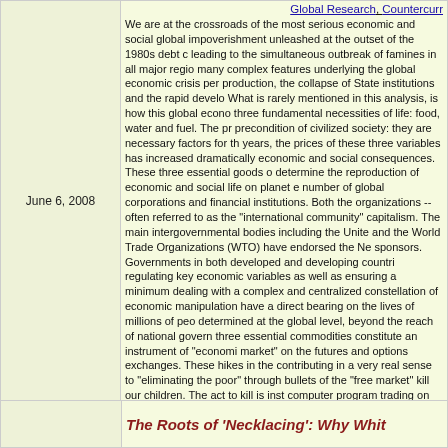Global Research, Countercurr
We are at the crossroads of the most serious economic and social global impoverishment unleashed at the outset of the 1980s debt crisis, leading to the simultaneous outbreak of famines in all major regions, many complex features underlying the global economic crisis pertaining to production, the collapse of State institutions and the rapid development. What is rarely mentioned in this analysis, is how this global economic crisis affects the three fundamental necessities of life: food, water and fuel. The provision of these is a precondition of civilized society: they are necessary factors for the economy. In recent years, the prices of these three variables has increased dramatically with devastating economic and social consequences. These three essential goods or commodities largely determine the reproduction of economic and social life on planet earth, controlled by a small number of global corporations and financial institutions. Both the intergovernmental organizations --often referred to as the "international community"-- and the proponents of capitalism. The main intergovernmental bodies including the United Nations, the IMF, the WB and the World Trade Organizations (WTO) have endorsed the New World Order agenda of its sponsors. Governments in both developed and developing countries are no longer in the business of regulating key economic variables as well as ensuring a minimum social safety net. We are dealing with a complex and centralized constellation of economic power in which prices and manipulation have a direct bearing on the lives of millions of people, yet prices are now determined at the global level, beyond the reach of national governments. The hikes in the prices of three essential commodities constitute an instrument of "economic warfare" conducted through "the market" on the futures and options exchanges. These hikes in the prices of food, water and fuel, contributing in a very real sense to "eliminating the poor" through "market". The invisible bullets of the "free market" kill our children. The act to kill is instrumented through computer program trading on the commodity exchanges, where the global prices of commodities are decided upon.
June 6, 2008
The Roots of 'Necklacing': Why White